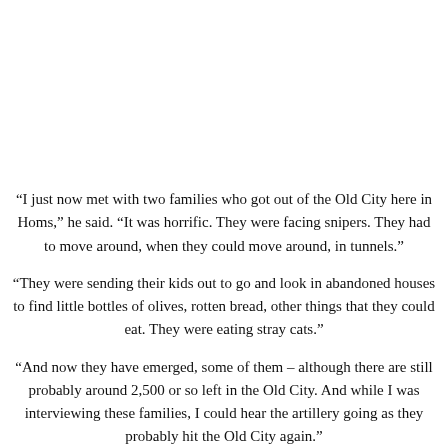“I just now met with two families who got out of the Old City here in Homs,” he said. “It was horrific. They were facing snipers. They had to move around, when they could move around, in tunnels.”
“They were sending their kids out to go and look in abandoned houses to find little bottles of olives, rotten bread, other things that they could eat. They were eating stray cats.”
“And now they have emerged, some of them – although there are still probably around 2,500 or so left in the Old City. And while I was interviewing these families, I could hear the artillery going as they probably hit the Old City again.”